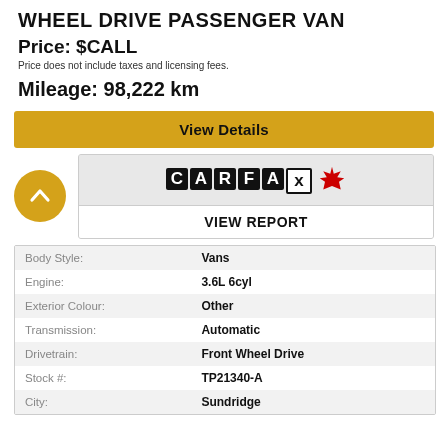WHEEL DRIVE PASSENGER VAN
Price: $CALL
Price does not include taxes and licensing fees.
Mileage: 98,222 km
View Details
[Figure (logo): CARFAX Canada logo with maple leaf, and VIEW REPORT button]
| Attribute | Value |
| --- | --- |
| Body Style: | Vans |
| Engine: | 3.6L 6cyl |
| Exterior Colour: | Other |
| Transmission: | Automatic |
| Drivetrain: | Front Wheel Drive |
| Stock #: | TP21340-A |
| City: | Sundridge |